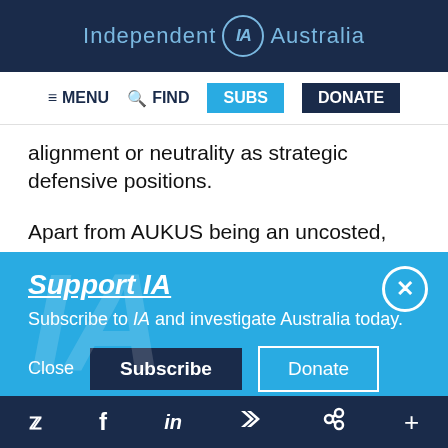Independent IA Australia
≡ MENU  🔍 FIND  SUBS  DONATE
alignment or neutrality as strategic defensive positions.
Apart from AUKUS being an uncosted, blank-
Support IA
Subscribe to IA and investigate Australia today.
Close  Subscribe  Donate
Twitter  Facebook  LinkedIn  Flipboard  Link  More